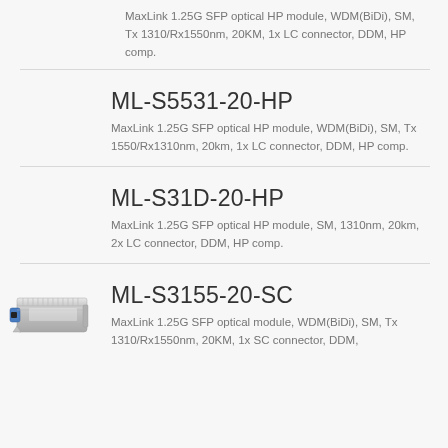MaxLink 1.25G SFP optical HP module, WDM(BiDi), SM, Tx 1310/Rx1550nm, 20KM, 1x LC connector, DDM, HP comp.
ML-S5531-20-HP
MaxLink 1.25G SFP optical HP module, WDM(BiDi), SM, Tx 1550/Rx1310nm, 20km, 1x LC connector, DDM, HP comp.
ML-S31D-20-HP
MaxLink 1.25G SFP optical HP module, SM, 1310nm, 20km, 2x LC connector, DDM, HP comp.
[Figure (photo): SFP optical module, silver/blue colored transceiver module shown from side angle]
ML-S3155-20-SC
MaxLink 1.25G SFP optical module, WDM(BiDi), SM, Tx 1310/Rx1550nm, 20KM, 1x SC connector, DDM,